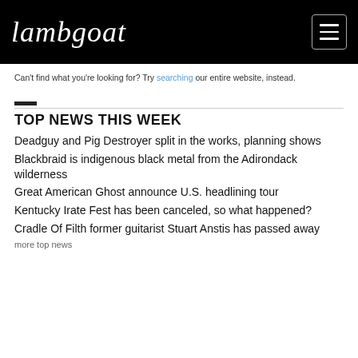lambgoat
Can't find what you're looking for? Try searching our entire website, instead.
TOP NEWS THIS WEEK
Deadguy and Pig Destroyer split in the works, planning shows
Blackbraid is indigenous black metal from the Adirondack wilderness
Great American Ghost announce U.S. headlining tour
Kentucky Irate Fest has been canceled, so what happened?
Cradle Of Filth former guitarist Stuart Anstis has passed away
more top news